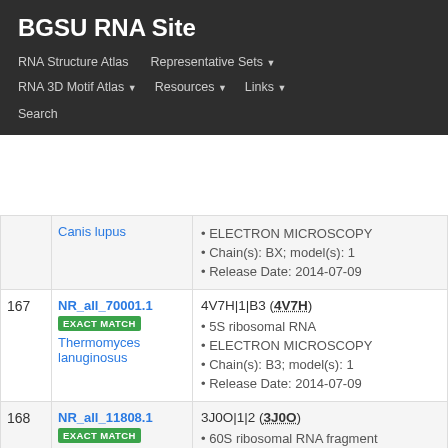BGSU RNA Site
RNA Structure Atlas | Representative Sets ▾ | RNA 3D Motif Atlas ▾ | Resources ▾ | Links ▾ | Search
| # | ID | Info |
| --- | --- | --- |
|  | NR_all_70001.1 EXACT MATCH Thermomyces lanuginosus | 4V7H|1|B3 (4V7H)
• 5S ribosomal RNA
• ELECTRON MICROSCOPY
• Chain(s): B3; model(s): 1
• Release Date: 2014-07-09 |
| 168 | NR_all_11808.1 EXACT MATCH Oryctolagus cuniculus | 3J0O|1|2 (3J0O)
• 60S ribosomal RNA fragment
• ELECTRON MICROSCOPY
• Chain(s): 2; model(s): 1
• Release Date: 2011-11-16 |